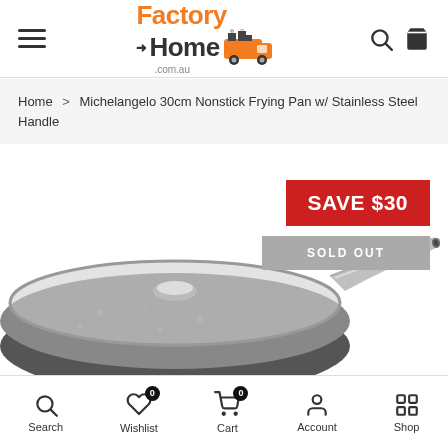[Figure (logo): Factory to Home .com.au logo with orange delivery truck icon]
Home > Michelangelo 30cm Nonstick Frying Pan w/ Stainless Steel Handle
[Figure (photo): Michelangelo 30cm Nonstick Frying Pan with stainless steel handle, shown from above with glass lid]
SAVE $30
SOLD OUT
Search  Wishlist 0  Cart 0  Account  Shop